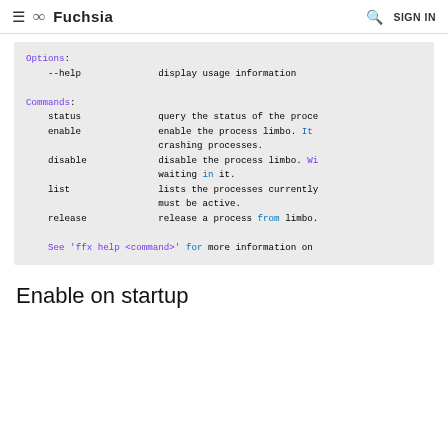≡ ∞ Fuchsia   🔍 SIGN IN
Options:
    --help                  display usage information

Commands:
    status                  query the status of the proce
    enable                  enable the process limbo. It
                            crashing processes.
    disable                 disable the process limbo. Wi
                            waiting in it.
    list                    lists the processes currently
                            must be active.
    release                 release a process from limbo.

    See 'ffx help <command>' for more information on
Enable on startup